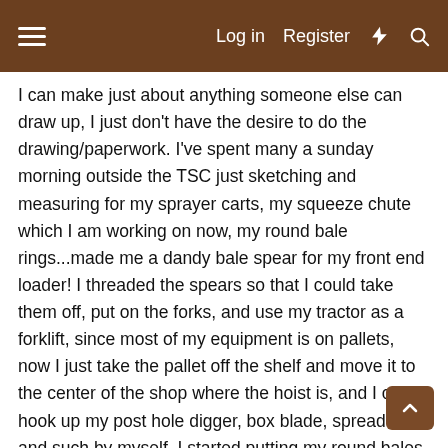≡  Log in  Register  ⚡  🔍
I can make just about anything someone else can draw up, I just don't have the desire to do the drawing/paperwork. I've spent many a sunday morning outside the TSC just sketching and measuring for my sprayer carts, my squeeze chute which I am working on now, my round bale rings...made me a dandy bale spear for my front end loader! I threaded the spears so that I could take them off, put on the forks, and use my tractor as a forklift, since most of my equipment is on pallets, now I just take the pallet off the shelf and move it to the center of the shop where the hoist is, and I can hook up my post hole digger, box blade, spreader and such by myself. I started putting my round bales on pallets also, probably doesnt help much, but at least I am getting them off the ground and not getting all muddy on the bottom. I stand them upright and they on big pallets. My neighbors probably think I am anal, but I've never been one to put much stock into what